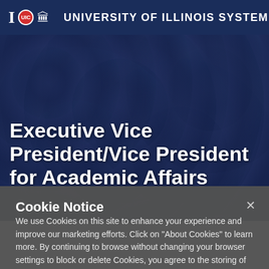University of Illinois System
[Figure (photo): Graduation ceremony with students in dark blue caps and gowns, large crowd at commencement]
Executive Vice President/Vice President for Academic Affairs
Cookie Notice
We use Cookies on this site to enhance your experience and improve our marketing efforts. Click on “About Cookies” to learn more. By continuing to browse without changing your browser settings to block or delete Cookies, you agree to the storing of Cookies and related technologies on your device.  University of Illinois System Cookie Policy
About Cookies
Close this Notice